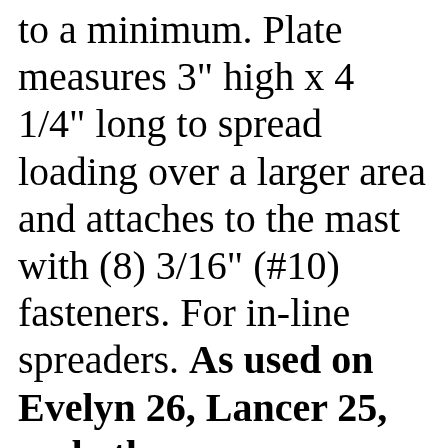to a minimum. Plate measures 3" high x 4 1/4" long to spread loading over a larger area and attaches to the mast with (8) 3/16" (#10) fasteners. For in-line spreaders. As used on Evelyn 26, Lancer 25, and others.